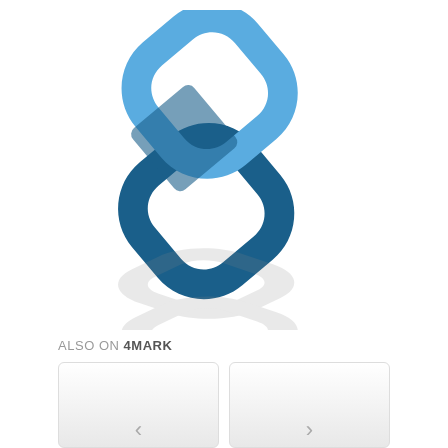[Figure (logo): Chain link logo icon with two interlocked chain links in blue tones (dark blue and light blue), rotated diagonally, with a grey reflection/shadow below it]
ALSO ON 4MARK
[Figure (other): Two card/thumbnail placeholders side by side with navigation arrows (left chevron on left card, right chevron on right card), grey gradient background]